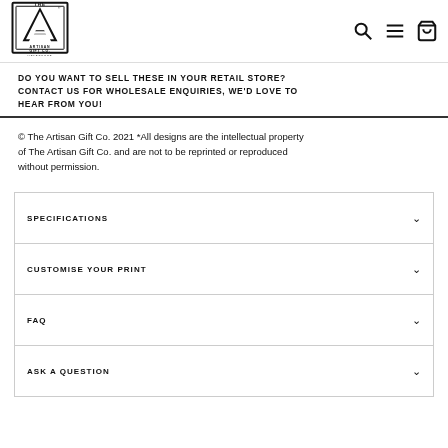[Figure (logo): The Artisan Gift Co. Melbourne logo — stylized letter A in a rectangular frame]
[Figure (infographic): Navigation icons: search (magnifying glass), hamburger menu, and shopping bag]
DO YOU WANT TO SELL THESE IN YOUR RETAIL STORE? CONTACT US FOR WHOLESALE ENQUIRIES, WE'D LOVE TO HEAR FROM YOU!
© The Artisan Gift Co. 2021 *All designs are the intellectual property of The Artisan Gift Co. and are not to be reprinted or reproduced without permission.
SPECIFICATIONS
CUSTOMISE YOUR PRINT
FAQ
ASK A QUESTION